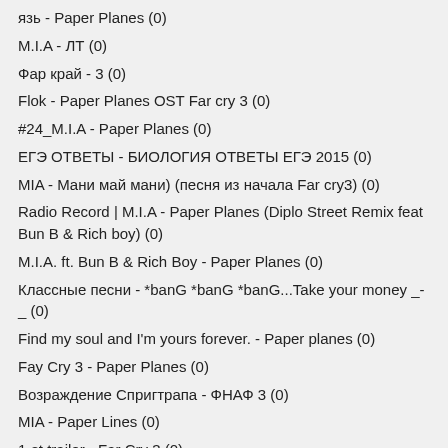язь - Paper Planes (0)
M.I.A - ЛТ (0)
Фар край - 3 (0)
Flok - Paper Planes OST Far cry 3 (0)
#24_M.I.A - Paper Planes (0)
ЕГЭ ОТВЕТЫ - БИОЛОГИЯ ОТВЕТЫ ЕГЭ 2015 (0)
MIA - Мани май мани) (песня из начала Far cry3) (0)
Radio Record | M.I.A - Paper Planes (Diplo Street Remix feat Bun B & Rich boy) (0)
M.I.A. ft. Bun B & Rich Boy - Paper Planes (0)
Классные песни - *banG *banG *banG...Take your money _-_ (0)
Find my soul and I'm yours forever. - Paper planes (0)
Fay Cry 3 - Paper Planes (0)
Возраждение Спригтрапа - ФНАФ 3 (0)
MIA - Paper Lines (0)
1-st trailer - Far Cry 3 (0)
M.I.A - Paper Planes OST Far cry 3 и Миллионер из трущоб (0)
M.I.A - 16 (0)
M I A - Vona-vona (0)
ALEXANDROV FAMILY - PAPER PLANES (0)
FarCry3 OST - eeee (0)
Far Cry 3 - Музыка из игр (0)